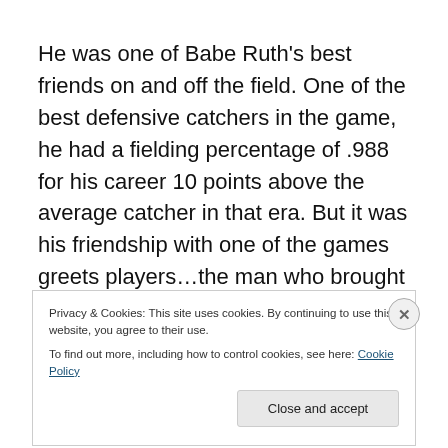He was one of Babe Ruth's best friends on and off the field. One of the best defensive catchers in the game, he had a fielding percentage of .988 for his career 10 points above the average catcher in that era. But it was his friendship with one of the games greets players…the man who brought baseball out of the darkest period in its existence, the Black Sox scandal of 1919.
Privacy & Cookies: This site uses cookies. By continuing to use this website, you agree to their use.
To find out more, including how to control cookies, see here: Cookie Policy
Close and accept